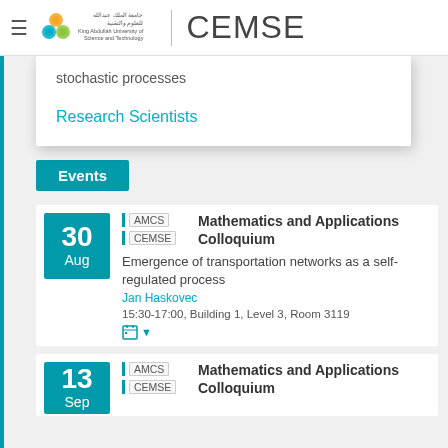CEMSE
stochastic processes
Research Scientists
Events
30 Aug | AMCS | CEMSE | Mathematics and Applications Colloquium | Emergence of transportation networks as a self-regulated process | Jan Haskovec | 15:30-17:00, Building 1, Level 3, Room 3119
13 Sep | AMCS | CEMSE | Mathematics and Applications Colloquium